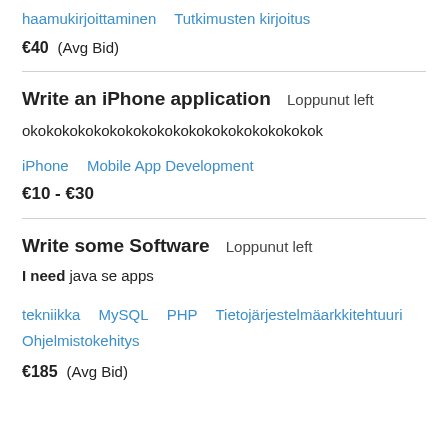haamukirjoittaminen   Tutkimusten kirjoitus
€40  (Avg Bid)
Write an iPhone application   Loppunut left
okokokokokokokokokokokokokokokokokokok
iPhone   Mobile App Development
€10 - €30
Write some Software   Loppunut left
I need java se apps
tekniikka   MySQL   PHP   Tietojärjestelmäarkkitehtuuri   Ohjelmistokehitys
€185  (Avg Bid)